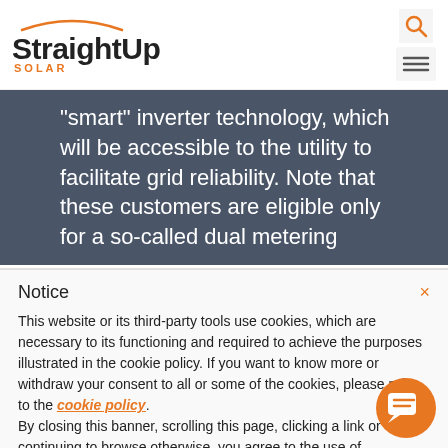[Figure (logo): StraightUp Solar logo with orange arc above the text and SOLAR subtitle in orange]
[Figure (other): Search icon (magnifying glass) and hamburger menu icon in top right corner]
“smart” inverter technology, which will be accessible to the utility to facilitate grid reliability. Note that these customers are eligible only for a so-called dual metering
Notice
This website or its third-party tools use cookies, which are necessary to its functioning and required to achieve the purposes illustrated in the cookie policy. If you want to know more or withdraw your consent to all or some of the cookies, please refer to the cookie policy.
By closing this banner, scrolling this page, clicking a link or continuing to browse otherwise, you agree to the use o